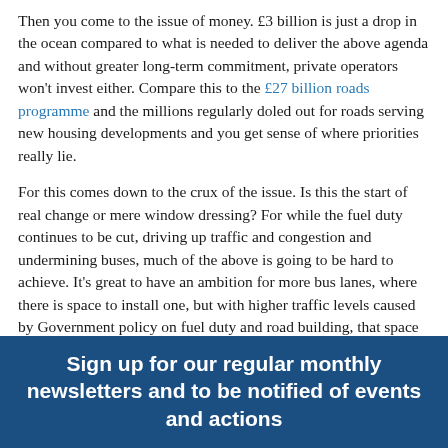Then you come to the issue of money. £3 billion is just a drop in the ocean compared to what is needed to deliver the above agenda and without greater long-term commitment, private operators won't invest either. Compare this to the £27 billion roads programme and the millions regularly doled out for roads serving new housing developments and you get sense of where priorities really lie.
For this comes down to the crux of the issue. Is this the start of real change or mere window dressing? For while the fuel duty continues to be cut, driving up traffic and congestion and undermining buses, much of the above is going to be hard to achieve. It's great to have an ambition for more bus lanes, where there is space to install one, but with higher traffic levels caused by Government policy on fuel duty and road building, that space becomes harder to find.
We shall have to wait and see whether the Government will
Sign up for our regular monthly newsletters and to be notified of events and actions